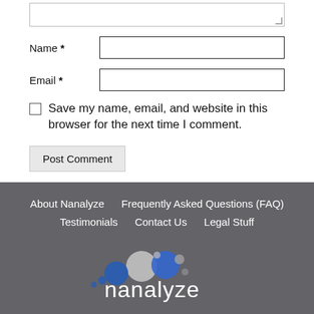[Figure (screenshot): Textarea input box (top portion visible)]
Name *
[Figure (screenshot): Name input text field]
Email *
[Figure (screenshot): Email input text field]
Save my name, email, and website in this browser for the next time I comment.
Post Comment
About Nanalyze   Frequently Asked Questions (FAQ)   Testimonials   Contact Us   Legal Stuff
[Figure (logo): Nanalyze logo with colored circles]